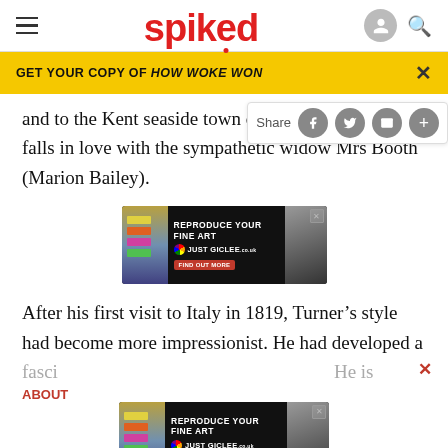spiked
GET YOUR COPY OF HOW WOKE WON
and to the Kent seaside town of falls in love with the sympathetic widow Mrs Booth (Marion Bailey).
[Figure (screenshot): Advertisement for Just Giclee fine art reproduction service with color swatches and portrait image, with Find Out More button]
After his first visit to Italy in 1819, Turner's style had become more impressionist. He had developed a
fasci... He is
ABOUT
[Figure (screenshot): Second advertisement for Just Giclee fine art reproduction service overlapping bottom text]